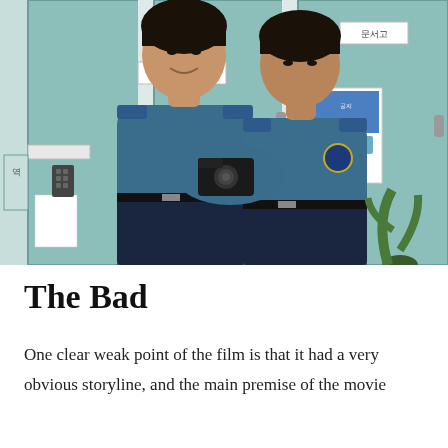[Figure (photo): Two Korean police officers in blue uniforms standing in a police station hallway with mint-green lockers/doors, both looking down at a camera or phone held between them. One officer on the left is smiling/leaning in, the other on the right has a more neutral expression. Signs in Korean on the walls.]
The Bad
One clear weak point of the film is that it had a very obvious storyline, and the main premise of the movie